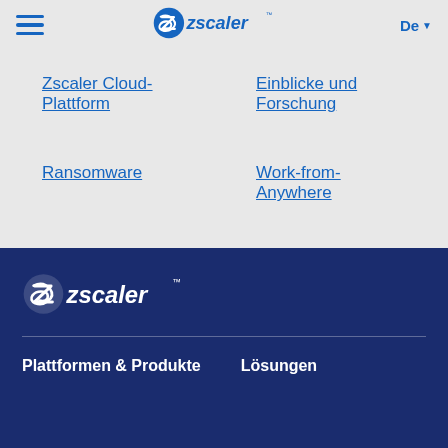Zscaler navigation header with hamburger menu, Zscaler logo, and De language selector
Zscaler Cloud-Plattform
Einblicke und Forschung
Ransomware
Work-from-Anywhere
CIO Insights
Ereignisse
[Figure (logo): Zscaler logo in white on dark blue background]
Plattformen & Produkte    Lösungen